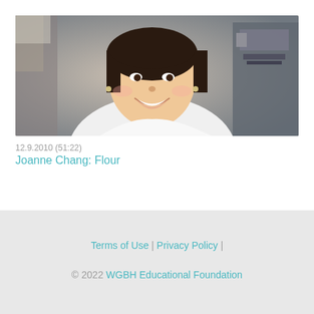[Figure (photo): A smiling woman in a white chef's coat photographed in a cafe/restaurant setting with coffee equipment visible in the background.]
12.9.2010 (51:22)
Joanne Chang: Flour
Terms of Use | Privacy Policy | © 2022 WGBH Educational Foundation